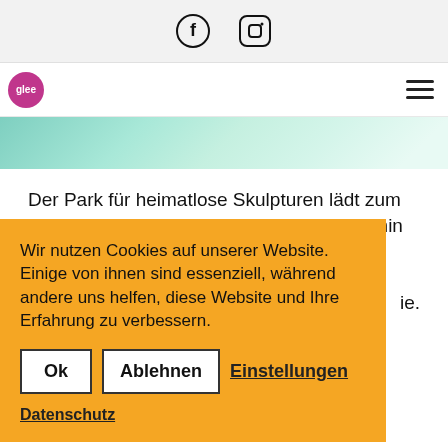Facebook Instagram social icons top bar
[Figure (screenshot): Website navigation bar with pink logo circle and hamburger menu]
[Figure (photo): Hero image strip with green/teal abstract background]
Der Park für heimatlose Skulpturen lädt zum wöchentlichen Ausstellungsformat 33:33 min ein. Jeden Donnerstagabend ab 19 Uhr verwandelt sich der Park
ie.
[Figure (infographic): Cookie consent banner with orange background. Text: Wir nutzen Cookies auf unserer Website. Einige von ihnen sind essenziell, während andere uns helfen, diese Website und Ihre Erfahrung zu verbessern. Buttons: Ok, Ablehnen, Einstellungen link, Datenschutz link.]
chucht
09. Juni – Christel Daesler